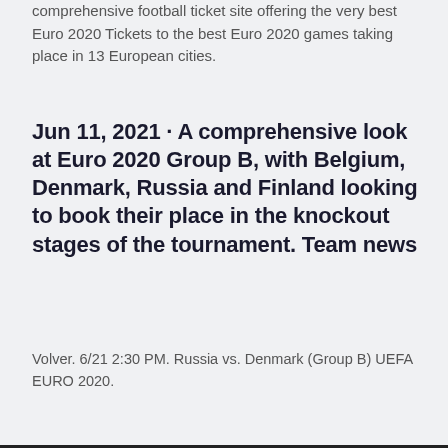comprehensive football ticket site offering the very best Euro 2020 Tickets to the best Euro 2020 games taking place in 13 European cities.
Jun 11, 2021 · A comprehensive look at Euro 2020 Group B, with Belgium, Denmark, Russia and Finland looking to book their place in the knockout stages of the tournament. Team news
Volver. 6/21 2:30 PM. Russia vs. Denmark (Group B) UEFA EURO 2020.